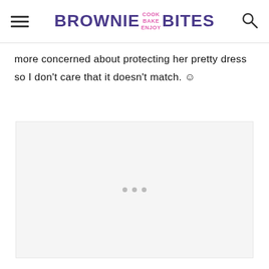BROWNIE COOK BAKE ENJOY BITES
more concerned about protecting her pretty dress so I don't care that it doesn't match. 🙂
[Figure (other): Advertisement placeholder area with three dots indicating loading or ad content]